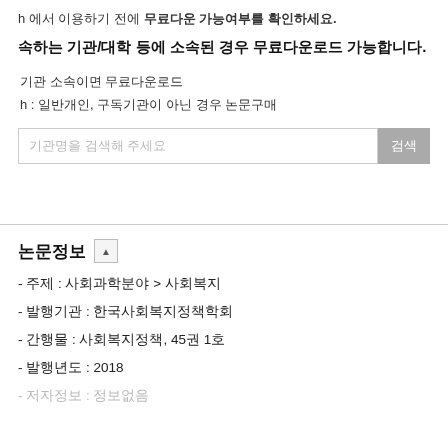h 에서 이용하기 전에 무료다운 가능여부를 확인하세요.
속하는 기관/대학 등에 소속된 경우 무료다운로드 가능합니다.
기관 소속이면 무료다운로드
h : 일반개인, 구독기관이 아닌 경우 논문구매
기관명을 검색해 주세요
논문정보
- 주제 : 사회과학분야 > 사회복지
- 발행기관 : 한국사회복지정책학회
- 간행물 : 사회복지정책, 45권 1호
- 발행년도 : 2018